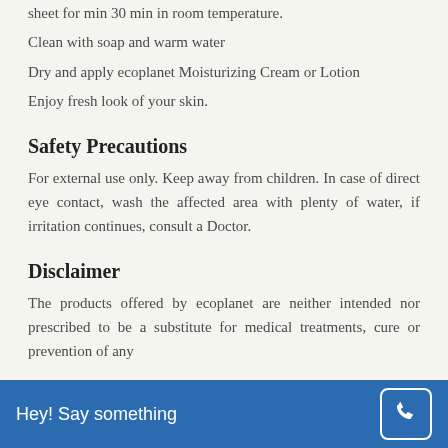sheet for min 30 min in room temperature.
Clean with soap and warm water
Dry and apply ecoplanet Moisturizing Cream or Lotion
Enjoy fresh look of your skin.
Safety Precautions
For external use only. Keep away from children. In case of direct eye contact, wash the affected area with plenty of water, if irritation continues, consult a Doctor.
Disclaimer
The products offered by ecoplanet are neither intended nor prescribed to be a substitute for medical treatments, cure or prevention of any
Hey! Say something